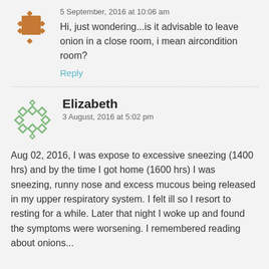[Figure (illustration): Orange/brown geometric diamond avatar icon]
5 September, 2016 at 10:06 am
Hi, just wondering...is it advisable to leave onion in a close room, i mean aircondition room?
Reply
[Figure (illustration): Green geometric diamond ring avatar icon]
Elizabeth
3 August, 2016 at 5:02 pm
Aug 02, 2016, I was expose to excessive sneezing (1400 hrs) and by the time I got home (1600 hrs) I was sneezing, runny nose and excess mucous being released in my upper respiratory system. I felt ill so I resort to resting for a while. Later that night I woke up and found the symptoms were worsening. I remembered reading about onions...